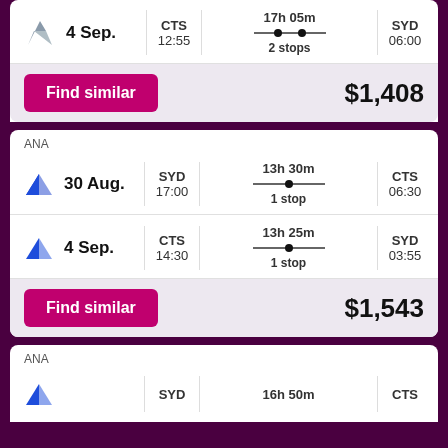4 Sep. | CTS 12:55 | 17h 05m 2 stops | SYD 06:00
Find similar $1,408
ANA
30 Aug. | SYD 17:00 | 13h 30m 1 stop | CTS 06:30
4 Sep. | CTS 14:30 | 13h 25m 1 stop | SYD 03:55
Find similar $1,543
ANA
SYD | 16h 50m | CTS